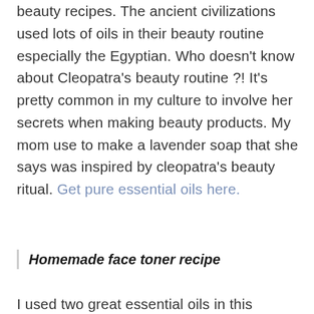beauty recipes. The ancient civilizations used lots of oils in their beauty routine especially the Egyptian. Who doesn't know about Cleopatra's beauty routine ?! It's pretty common in my culture to involve her secrets when making beauty products. My mom use to make a lavender soap that she says was inspired by cleopatra's beauty ritual. Get pure essential oils here.
Homemade face toner recipe
I used two great essential oils in this